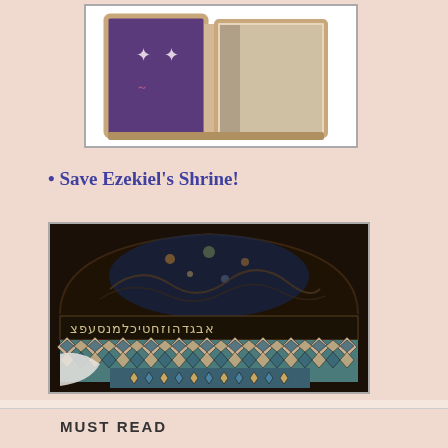[Figure (photo): A decorative box or shrine object shown partially open, with ornate patterned exterior in purple/dark tones with red accents and cream border trim, displayed against a white background.]
• Save Ezekiel's Shrine!
[Figure (photo): Interior of Ezekiel's Shrine showing an arched niche with intricate dark floral/arabesque tile or painted decoration at the top, a band of Hebrew script text in the middle, and geometric blue and cream diamond-pattern tiles below. Some white cloth or material is visible in the lower left corner.]
MUST READ